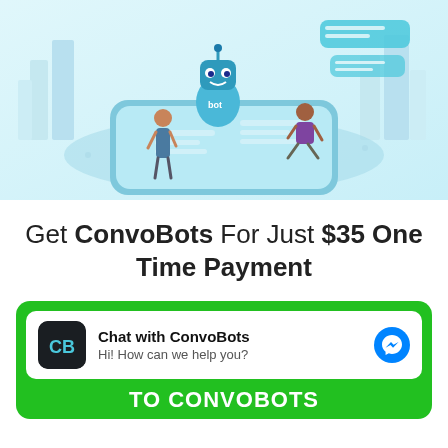[Figure (illustration): Isometric illustration of a robot chatbot on a smartphone with people interacting, chat bubbles, and a cityscape background in light blue/teal tones.]
Get ConvoBots For Just $35 One Time Payment
Chat with ConvoBots
Hi! How can we help you?
TO CONVOBOTS